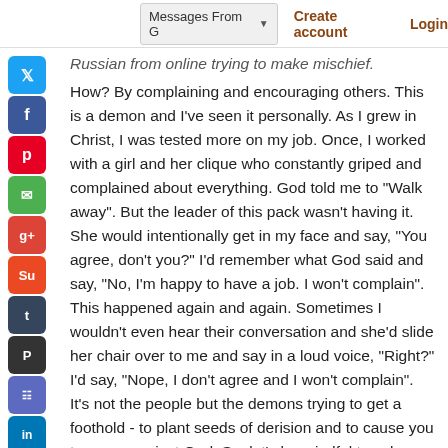Messages From G▾   Create account   Login
Russian from online trying to make mischief. How? By complaining and encouraging others. This is a demon and I've seen it personally. As I grew in Christ, I was tested more on my job. Once, I worked with a girl and her clique who constantly griped and complained about everything. God told me to "Walk away". But the leader of this pack wasn't having it. She would intentionally get in my face and say, "You agree, don't you?" I'd remember what God said and say, "No, I'm happy to have a job. I won't complain". This happened again and again. Sometimes I wouldn't even hear their conversation and she'd slide her chair over to me and say in a loud voice, "Right?" I'd say, "Nope, I don't agree and I won't complain". It's not the people but the demons trying to get a foothold - to plant seeds of derision and to cause you to come against God. So, let's be mindful to ask Father God for forgiveness quickly. God wants us on one accord (and not mirroring the world). God keeps saying MAJOR